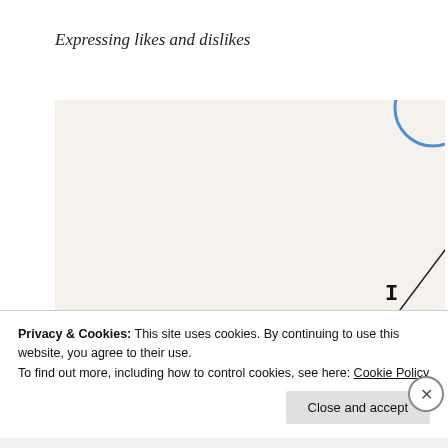Expressing likes and dislikes
[Figure (illustration): A language learning diagram showing a diagonal line with handwritten phrases in red: 'I quite like...' and 'I don't...' along the line, with a circle element in the top right corner. Background is off-white/cream.]
Privacy & Cookies: This site uses cookies. By continuing to use this website, you agree to their use.
To find out more, including how to control cookies, see here: Cookie Policy
Close and accept
Advertisements